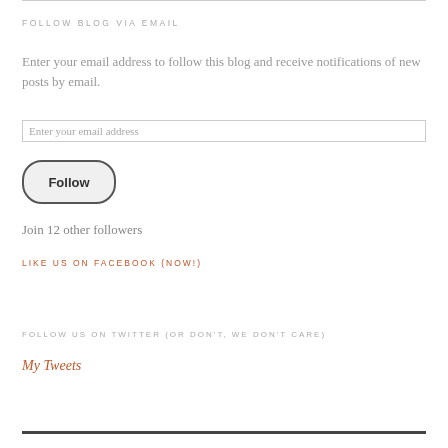FOLLOW BLOG VIA EMAIL
Enter your email address to follow this blog and receive notifications of new posts by email.
Enter your email address
Follow
Join 12 other followers
LIKE US ON FACEBOOK (NOW!)
FOLLOW US ON TWITTER (OR DON'T, WE DON'T CARE)
My Tweets